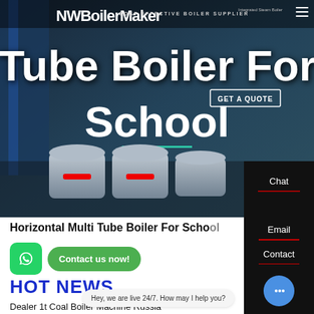[Figure (screenshot): Hero banner of industrial boiler supplier website showing large boiler equipment in a blue/dark background with the company logo and tagline 'COST-EFFECTIVE BOILER SUPPLIER']
Tube Boiler For School
Horizontal Multi Tube Boiler For School
Contact us now!
HOT NEWS
Hey, we are live 24/7. How may I help you?
Dealer 1t Coal Boiler Machine Russia